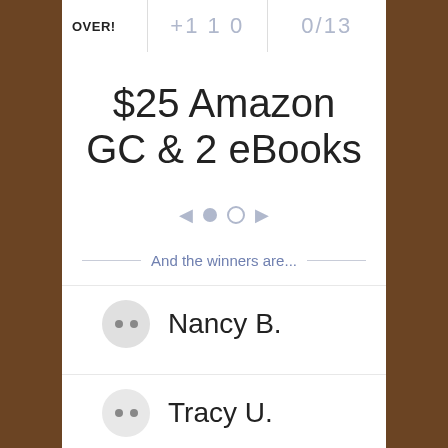OVER!
$25 Amazon GC & 2 eBooks
And the winners are...
Nancy B.
Tracy U.